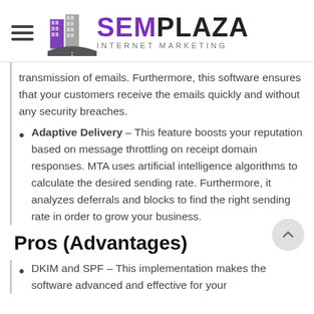SEMPLAZA INTERNET MARKETING
transmission of emails. Furthermore, this software ensures that your customers receive the emails quickly and without any security breaches.
Adaptive Delivery – This feature boosts your reputation based on message throttling on receipt domain responses. MTA uses artificial intelligence algorithms to calculate the desired sending rate. Furthermore, it analyzes deferrals and blocks to find the right sending rate in order to grow your business.
Pros (Advantages)
DKIM and SPF – This implementation makes the software advanced and effective for your